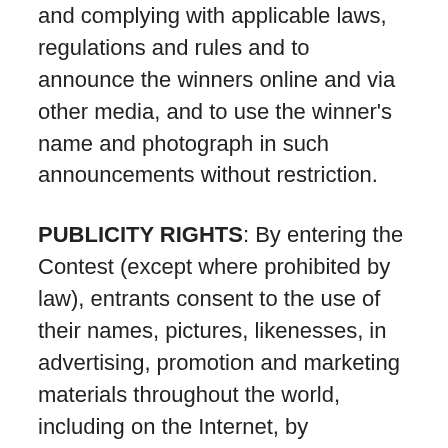and complying with applicable laws, regulations and rules and to announce the winners online and via other media, and to use the winner's name and photograph in such announcements without restriction.
PUBLICITY RIGHTS: By entering the Contest (except where prohibited by law), entrants consent to the use of their names, pictures, likenesses, in advertising, promotion and marketing materials throughout the world, including on the Internet, by OnlineMedicalAssistantPrograms.net, without additional compensation, notice, review, or approval. Nothing contained in these Official Rules obligates OnlineMedicalAssistantPrograms.net to make use of any of the rights granted herein and winner waives any right to inspect or approve any